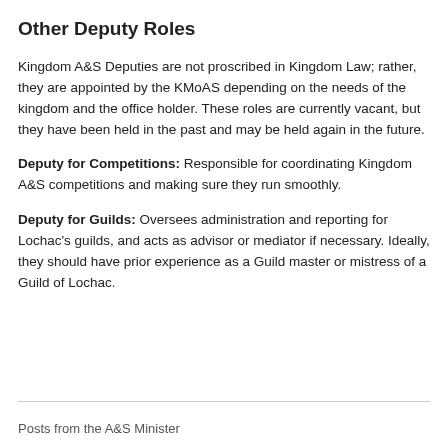Other Deputy Roles
Kingdom A&S Deputies are not proscribed in Kingdom Law; rather, they are appointed by the KMoAS depending on the needs of the kingdom and the office holder. These roles are currently vacant, but they have been held in the past and may be held again in the future.
Deputy for Competitions: Responsible for coordinating Kingdom A&S competitions and making sure they run smoothly.
Deputy for Guilds: Oversees administration and reporting for Lochac's guilds, and acts as advisor or mediator if necessary. Ideally, they should have prior experience as a Guild master or mistress of a Guild of Lochac.
Posts from the A&S Minister